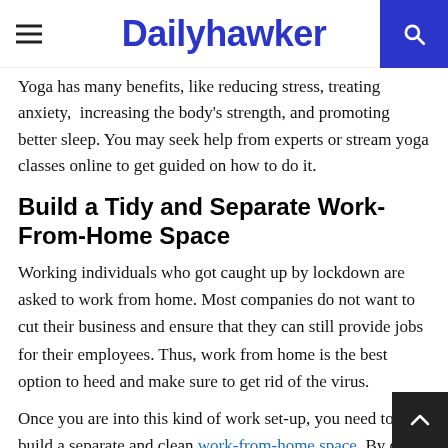Dailyhawker
Yoga has many benefits, like reducing stress, treating anxiety, increasing the body’s strength, and promoting better sleep. You may seek help from experts or stream yoga classes online to get guided on how to do it.
Build a Tidy and Separate Work-From-Home Space
Working individuals who got caught up by lockdown are asked to work from home. Most companies do not want to cut their business and ensure that they can still provide jobs for their employees. Thus, work from home is the best option to heed and make sure to get rid of the virus.
Once you are into this kind of work set-up, you need to build a separate and clean work-from-home space. By doing this, you can have a more focused, improved